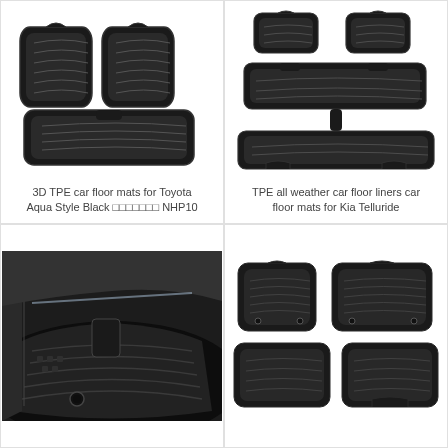[Figure (photo): 3D TPE car floor mats for Toyota Aqua, black, showing front and rear mats set against white background]
3D TPE car floor mats for Toyota Aqua Style Black □□□□□□□ NHP10
[Figure (photo): TPE all weather car floor liners for Kia Telluride, black 3-row set shown against white background]
TPE all weather car floor liners car floor mats for Kia Telluride
[Figure (photo): Close-up photo of black car floor mat installed in vehicle interior, showing textured surface with drainage hole]
[Figure (photo): Set of black car floor mats showing 3-piece set with front and rear mats against white background]